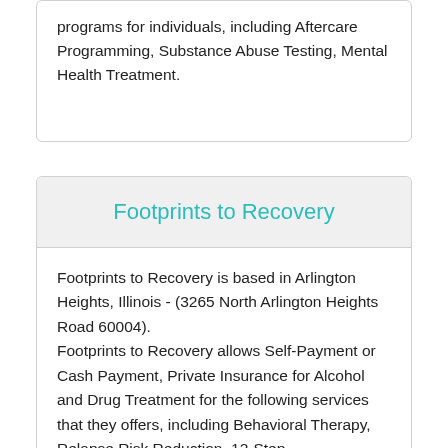programs for individuals, including Aftercare Programming, Substance Abuse Testing, Mental Health Treatment.
Footprints to Recovery
Footprints to Recovery is based in Arlington Heights, Illinois - (3265 North Arlington Heights Road 60004).
Footprints to Recovery allows Self-Payment or Cash Payment, Private Insurance for Alcohol and Drug Treatment for the following services that they offers, including Behavioral Therapy, Relapse Risk Reduction, 12-Step